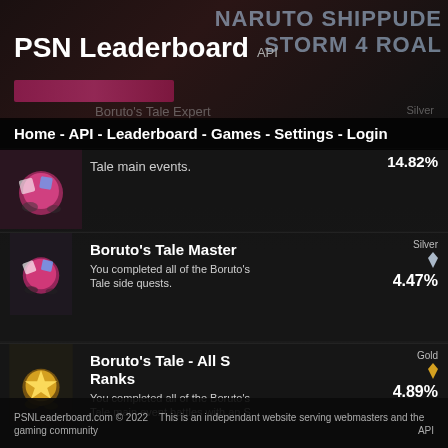NARUTO SHIPPUDE STORM 4 ROAL
PSN Leaderboard API
Home - API - Leaderboard - Games - Settings - Login
Boruto's Tale Expert
Silver
14.82%
Boruto's Tale Master
You completed all of the Boruto's Tale side quests.
Silver
4.47%
Boruto's Tale - All S Ranks
You completed all of the Boruto's Tale main event battles with an S
Gold
4.89%
PSNLeaderboard.com © 2022    This is an independant website serving webmasters and the gaming community    API